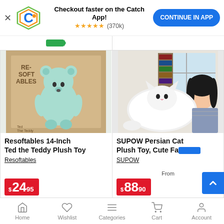Checkout faster on the Catch App! ★★★★★ (370k) CONTINUE IN APP
[Figure (screenshot): Resoftables 14-Inch Ted the Teddy plush toy in box, mint green bear]
Resoftables 14-Inch Ted the Teddy Plush Toy
Resoftables
$24.95
[Figure (photo): SUPOW Persian Cat large white plush toy, girl hugging it]
SUPOW Persian Cat Plush Toy, Cute Fa...
SUPOW
From $88.90
Home  Wishlist  Categories  Cart  Account